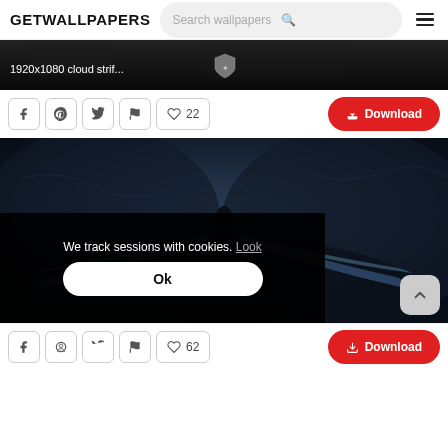GETWALLPAPERS | Search wallpapers
[Figure (screenshot): Dark banner image showing 1920x1080 cloud strif... with a shield icon in center]
f  [pinterest]  [twitter]  [flag]  [heart] 22   Download
[Figure (screenshot): Large dark fantasy wallpaper showing a figure with large sword blades spread out like wings in a dark cave setting]
We track sessions with cookies. Look
Ok
f  [pinterest]  [twitter]  [flag]  [heart] 62   Download